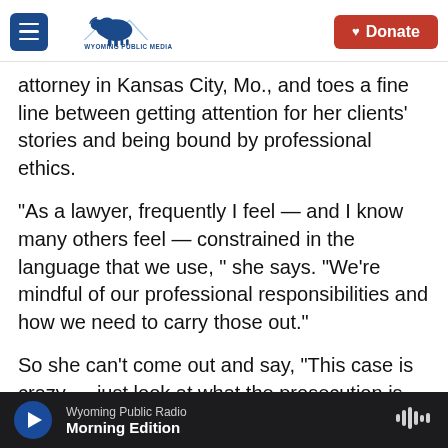Wyoming Public Media — Donate
attorney in Kansas City, Mo., and toes a fine line between getting attention for her clients' stories and being bound by professional ethics.
"As a lawyer, frequently I feel — and I know many others feel — constrained in the language that we use, " she says. "We're mindful of our professional responsibilities and how we need to carry those out."
So she can't come out and say, "This case is crazy — just look at what the prosecution is trying to do!" That's where Jason Flom comes in.
Wyoming Public Radio — Morning Edition